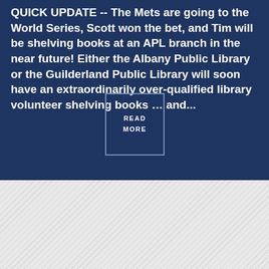QUICK UPDATE -- The Mets are going to the World Series, Scott won the bet, and Tim will be shelving books at an APL branch in the near future! Either the Albany Public Library or the Guilderland Public Library will soon have an extraordinarily over-qualified library volunteer shelving books ... and...
READ MORE
Silent Film Spectacular Performances in October